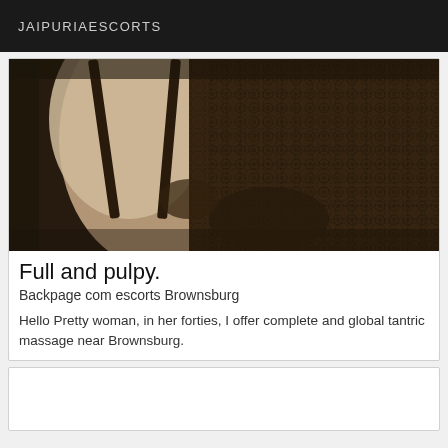JAIPURIAESCORTS
[Figure (photo): Close-up sepia-toned photograph of a person wearing black lace lingerie, showing décolletage and lace detail against a dark background.]
Full and pulpy.
Backpage com escorts Brownsburg
Hello Pretty woman, in her forties, I offer complete and global tantric massage near Brownsburg.